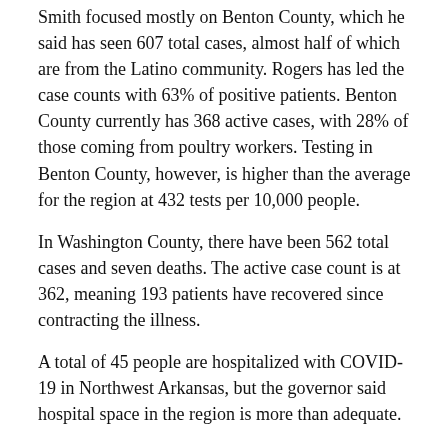Smith focused mostly on Benton County, which he said has seen 607 total cases, almost half of which are from the Latino community. Rogers has led the case counts with 63% of positive patients. Benton County currently has 368 active cases, with 28% of those coming from poultry workers. Testing in Benton County, however, is higher than the average for the region at 432 tests per 10,000 people.
In Washington County, there have been 562 total cases and seven deaths. The active case count is at 362, meaning 193 patients have recovered since contracting the illness.
A total of 45 people are hospitalized with COVID-19 in Northwest Arkansas, but the governor said hospital space in the region is more than adequate.
Statewide case update
Of the 6,538 total known cases to date in Arkansas, 1,909 are considered active, meaning 5,401 patients have so far recovered from the illness. There were no additional deaths